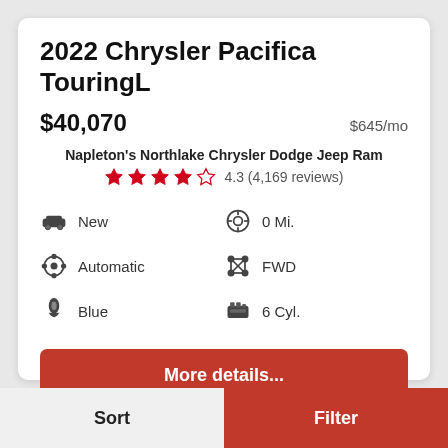2022 Chrysler Pacifica TouringL
$40,070   $645/mo
Napleton's Northlake Chrysler Dodge Jeep Ram
4.3 (4,169 reviews)
New
0 Mi.
Automatic
FWD
Blue
6 Cyl.
More details...
Sort
Filter